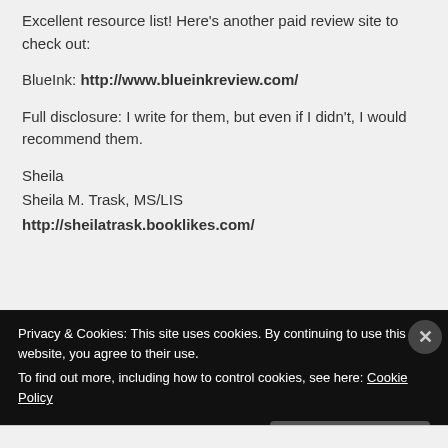Excellent resource list! Here's another paid review site to check out:
BlueInk: http://www.blueinkreview.com/
Full disclosure: I write for them, but even if I didn't, I would recommend them.
Sheila
Sheila M. Trask, MS/LIS
http://sheilatrask.booklikes.com/
Privacy & Cookies: This site uses cookies. By continuing to use this website, you agree to their use.
To find out more, including how to control cookies, see here: Cookie Policy
Close and accept